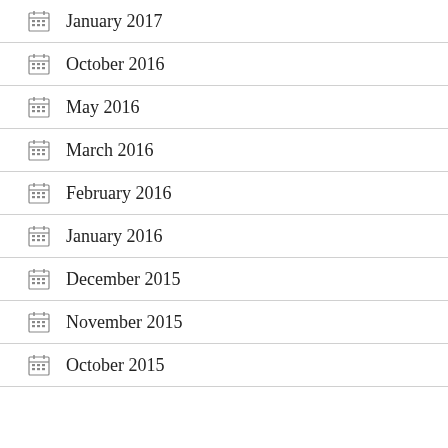January 2017
October 2016
May 2016
March 2016
February 2016
January 2016
December 2015
November 2015
October 2015